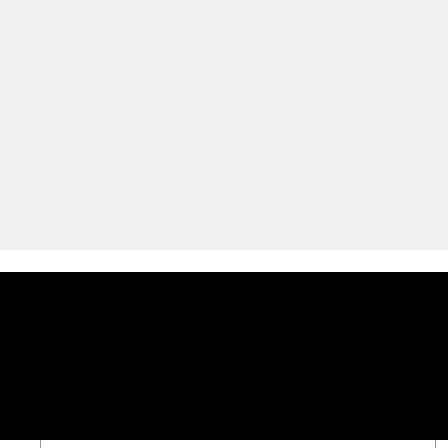[Figure (screenshot): Top gray background area representing a webpage banner or advertisement region]
DID YOU KNOW?
[Figure (screenshot): Partial content card with inner bordered box showing italic gray text 'were merged into one character called Dark Claw.']
[Figure (screenshot): Black overlay video ad bar with loading spinner circle, title 'Top 10 Most Badass Anime Villain Moments', close X circle button, and 'Close X' button]
were merged into one character called Dark Claw.